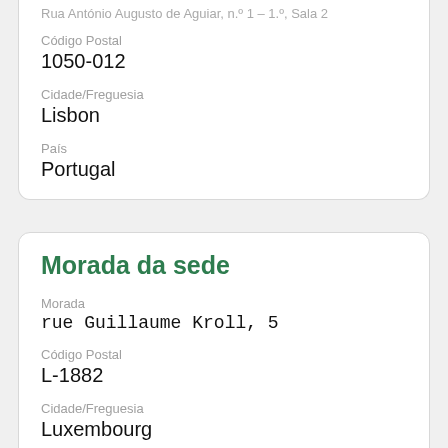Rua António Augusto de Aguiar, n.º 1 – 1.º, Sala 2
Código Postal
1050-012
Cidade/Freguesia
Lisbon
País
Portugal
Morada da sede
Morada
rue Guillaume Kroll, 5
Código Postal
L-1882
Cidade/Freguesia
Luxembourg